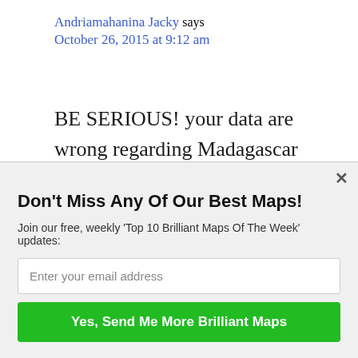Andriamahanina Jacky says
October 26, 2015 at 9:12 am
BE SERIOUS! your data are wrong regarding Madagascar Island religions! Totally WRONG! Drawing FAKE maps from DUBIOUS DATA is insane!
[Figure (logo): SUMO logo with crown icon]
Don't Miss Any Of Our Best Maps!
Join our free, weekly 'Top 10 Brilliant Maps Of The Week' updates:
Enter your email address
Yes, Send Me More Brilliant Maps